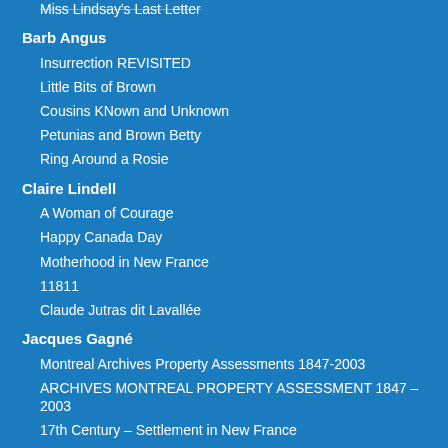Miss Lindsay's Last Letter
Barb Angus
Insurrection REVISITED
Little Bits of Brown
Cousins KNown and Unknown
Petunias and Brown Betty
Ring Around a Rosie
Claire Lindell
A Woman of Courage
Happy Canada Day
Motherhood in New France
11811
Claude Jutras dit Lavallée
Jacques Gagné
Montreal Archives Property Assessments 1847-2003
ARCHIVES MONTREAL PROPERTY ASSESSMENT 1847 – 2003
17th Century – Settlement in New France
Physicians of Quebec 1760 – 1800